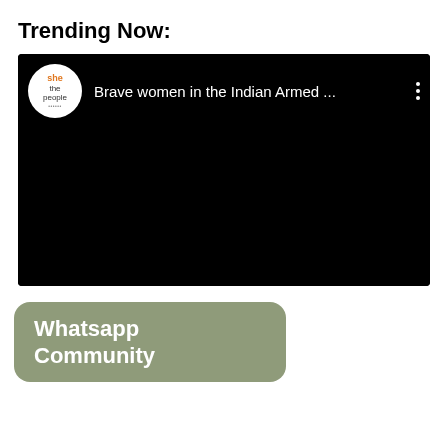Trending Now:
[Figure (screenshot): Embedded video player with black background showing 'she the people' logo and title 'Brave women in the Indian Armed ...' with three-dot menu icon]
Whatsapp Community